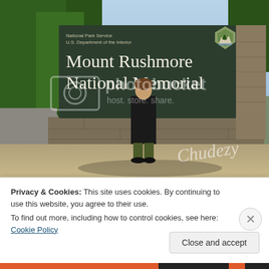[Figure (photo): A woman standing in front of the Mount Rushmore National Memorial entrance sign. The large dark green sign reads 'National Park Service / U.S. Department of the Interior / Mount Rushmore National Memorial' with the NPS arrowhead logo. The setting shows a sunny day with pine trees in the background, a stone wall base, and a dirt/gravel foreground. A Photobucket watermark and 'Chudezy' signature watermark are overlaid on the image.]
Privacy & Cookies: This site uses cookies. By continuing to use this website, you agree to their use.
To find out more, including how to control cookies, see here: Cookie Policy